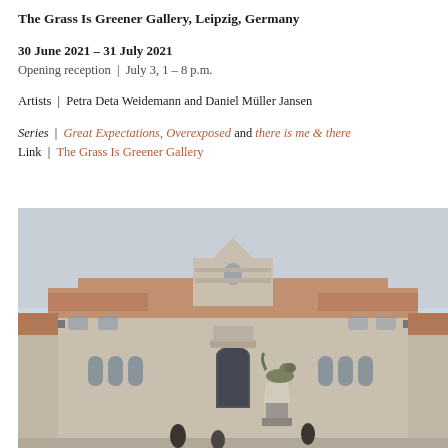The Grass Is Greener Gallery, Leipzig, Germany
30 June 2021 – 31 July 2021
Opening reception | July 3, 1 – 8 p.m.
Artists | Petra Deta Weidemann and Daniel Müller Jansen
Series | Great Expectations, Overexposed and there is me & there
Link | The Grass Is Greener Gallery
[Figure (photo): Exterior photograph of a historic Romanesque Revival stone building with ornate facade, arched windows, central gabled entrance, terracotta roof, and a bronze lion statue on a pedestal in the foreground. Gray overcast sky.]